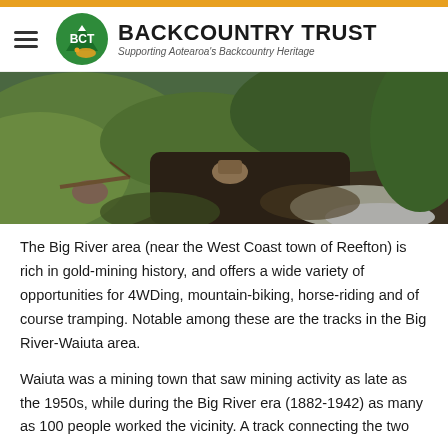BACKCOUNTRY TRUST — Supporting Aotearoa's Backcountry Heritage
[Figure (photo): Outdoor trail photo showing a gravel path winding through green bush and hillside terrain, typical New Zealand backcountry landscape near Reefton.]
The Big River area (near the West Coast town of Reefton) is rich in gold-mining history, and offers a wide variety of opportunities for 4WDing, mountain-biking, horse-riding and of course tramping. Notable among these are the tracks in the Big River-Waiuta area.
Waiuta was a mining town that saw mining activity as late as the 1950s, while during the Big River era (1882-1942) as many as 100 people worked the vicinity. A track connecting the two